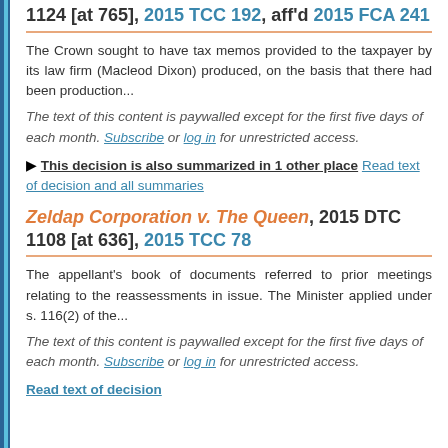1124 [at 765], 2015 TCC 192, aff'd 2015 FCA 241
The Crown sought to have tax memos provided to the taxpayer by its law firm (Macleod Dixon) produced, on the basis that there had been production...
The text of this content is paywalled except for the first five days of each month. Subscribe or log in for unrestricted access.
▶ This decision is also summarized in 1 other place Read text of decision and all summaries
Zeldap Corporation v. The Queen, 2015 DTC 1108 [at 636], 2015 TCC 78
The appellant's book of documents referred to prior meetings relating to the reassessments in issue. The Minister applied under s. 116(2) of the...
The text of this content is paywalled except for the first five days of each month. Subscribe or log in for unrestricted access.
Read text of decision